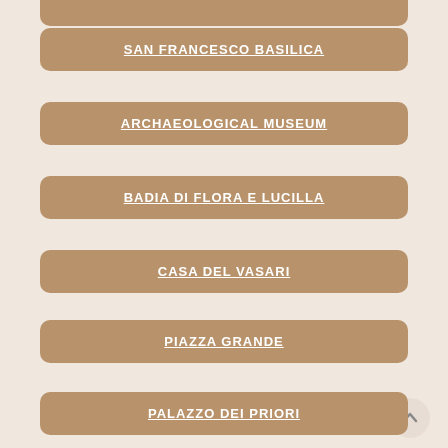SAN FRANCESCO BASILICA
ARCHAEOLOGICAL MUSEUM
BADIA DI FLORA E LUCILLA
CASA DEL VASARI
PIAZZA GRANDE
PALAZZO DEI PRIORI
PALAZZO DELLA FRATERNITA DEI LAICI